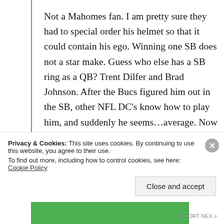Not a Mahomes fan. I am pretty sure they had to special order his helmet so that it could contain his ego. Winning one SB does not a star make. Guess who else has a SB ring as a QB? Trent Dilfer and Brad Johnson. After the Bucs figured him out in the SB, other NFL DC's know how to play him, and suddenly he seems…average. Now Trevor: I like his chances, but not with
Privacy & Cookies: This site uses cookies. By continuing to use this website, you agree to their use.
To find out more, including how to control cookies, see here: Cookie Policy